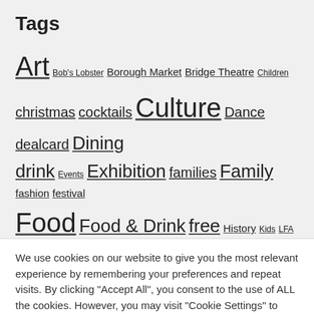Tags
Art Bob's Lobster Borough Market Bridge Theatre Children christmas cocktails Culture Dance dealcard Dining drink Events Exhibition families Family fashion festival Food Food & Drink free History Kids LFA London Bridge London Bridge Art London Bridge
We use cookies on our website to give you the most relevant experience by remembering your preferences and repeat visits. By clicking "Accept All", you consent to the use of ALL the cookies. However, you may visit "Cookie Settings" to provide a controlled consent.
Cookie Settings
Accept All